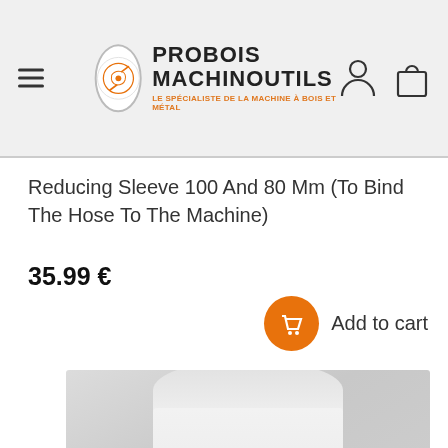PROBOIS MACHINOUTILS — LE SPÉCIALISTE DE LA MACHINE À BOIS ET MÉTAL
Reducing Sleeve 100 And 80 Mm (To Bind The Hose To The Machine)
35.99 €
Add to cart
[Figure (photo): Product photo of a white plastic reducing sleeve/adapter for dust collection hose, showing a tubular fitting with two diameter sections.]